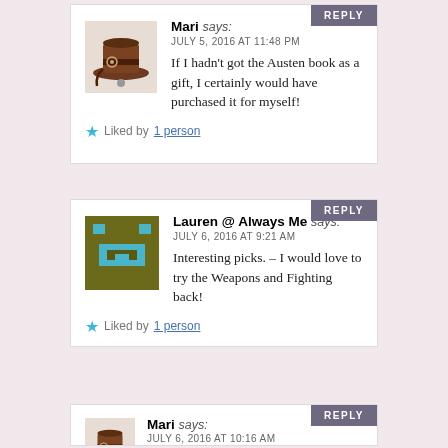[Figure (illustration): Steampunk top hat avatar icon for Mari]
Mari says:
JULY 5, 2016 AT 11:48 PM
If I hadn't got the Austen book as a gift, I certainly would have purchased it for myself!
Liked by 1 person
[Figure (illustration): Lauren @ Always Me avatar icon — olive/teal graphic]
Lauren @ Always Me says:
JULY 6, 2016 AT 9:21 AM
Interesting picks. – I would love to try the Weapons and Fighting back!
Liked by 1 person
[Figure (illustration): Steampunk top hat avatar icon for Mari]
Mari says:
JULY 6, 2016 AT 10:16 AM
Definitely worth the read, especially with the lovely